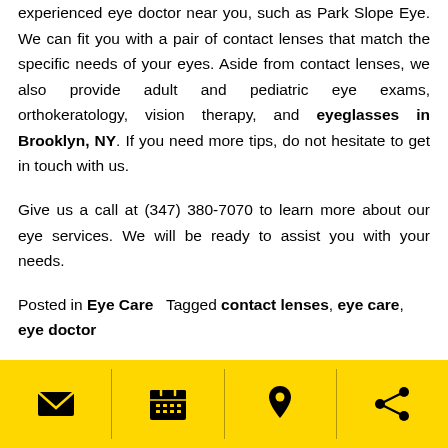experienced eye doctor near you, such as Park Slope Eye. We can fit you with a pair of contact lenses that match the specific needs of your eyes. Aside from contact lenses, we also provide adult and pediatric eye exams, orthokeratology, vision therapy, and eyeglasses in Brooklyn, NY. If you need more tips, do not hesitate to get in touch with us.
Give us a call at (347) 380-7070 to learn more about our eye services. We will be ready to assist you with your needs.
Posted in Eye Care   Tagged contact lenses, eye care, eye doctor